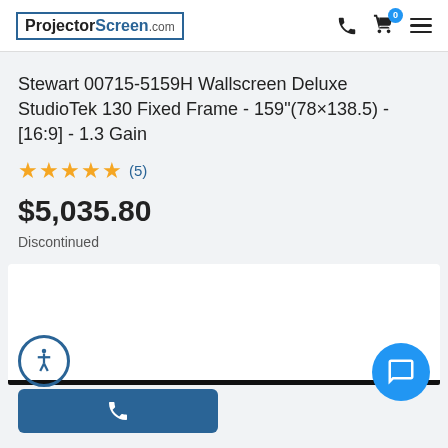ProjectorScreen.com
Stewart 00715-5159H Wallscreen Deluxe StudioTek 130 Fixed Frame - 159"(78×138.5) - [16:9] - 1.3 Gain
★★★★★ (5)
$5,035.80
Discontinued